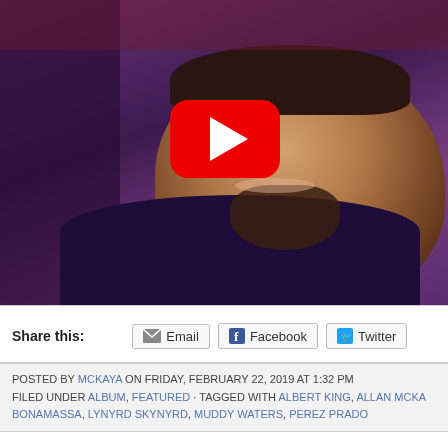[Figure (screenshot): YouTube video thumbnail showing a man with a beard wearing a purple shirt, with a red YouTube play button overlay in the center]
Share this:   Email   Facebook   Twitter
POSTED BY MCKAYA ON FRIDAY, FEBRUARY 22, 2019 AT 1:32 PM
FILED UNDER ALBUM, FEATURED · TAGGED WITH ALBERT KING, ALLAN MCKA...
BONAMASSA, LYNYRD SKYNYRD, MUDDY WATERS, PEREZ PRADO
Steve Gibbons @The Foxlowe, Leek 14/02/19
What a wonderful thing it is to be able... have a bit of that' when you're in your... So happens the promoter of the l...